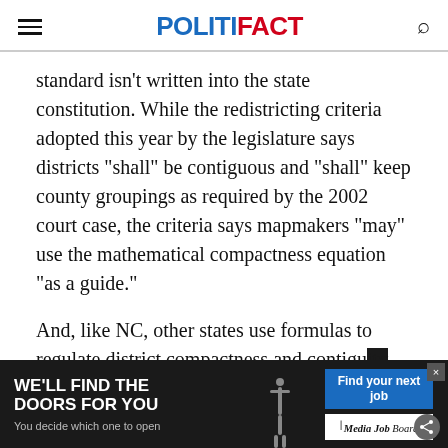POLITIFACT
standard isn't written into the state constitution. While the redistricting criteria adopted this year by the legislature says districts "shall" be contiguous and "shall" keep county groupings as required by the 2002 court case, the criteria says mapmakers "may" use the mathematical compactness equation "as a guide."
And, like NC, other states use formulas to regulate district compactness and contigu... accor...
[Figure (screenshot): Advertisement banner at bottom: left dark section reads 'WE'LL FIND THE DOORS FOR YOU / You decide which one to open' with image of person at doors; right dark section has blue 'Find your next job' button and Media Job Board logo. Close (x) button in top right corner.]